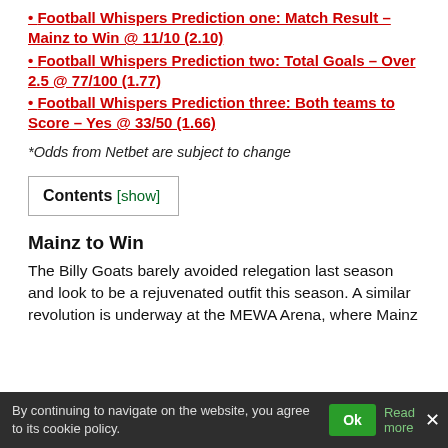• Football Whispers Prediction one: Match Result – Mainz to Win @ 11/10 (2.10)
• Football Whispers Prediction two: Total Goals – Over 2.5 @ 77/100 (1.77)
• Football Whispers Prediction three: Both teams to Score – Yes @ 33/50 (1.66)
*Odds from Netbet are subject to change
Contents [show]
Mainz to Win
The Billy Goats barely avoided relegation last season and look to be a rejuvenated outfit this season. A similar revolution is underway at the MEWA Arena, where Mainz
By continuing to navigate on the website, you agree to its cookie policy.